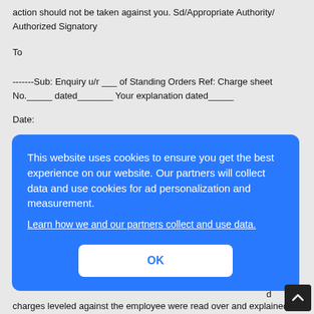action should not be taken against you. Sd/Appropriate Authority/Authorized Signatory
To
-------Sub: Enquiry u/r ___ of Standing Orders Ref: Charge sheet No._____ dated_______ Your explanation dated_____
Date:
[partial text visible behind overlay] ...has ...e at ... ...officer.
[Figure (other): Cookie consent overlay popup with blue background. Text: 'This website uses cookies to ensure you get the best experience on our website. Our partners will collect data and use cookies for ad personalization and measurement.' Link: 'Learn how we and our partners collect and use data.' Button: 'OK']
charges leveled against the employee were read over and explained to